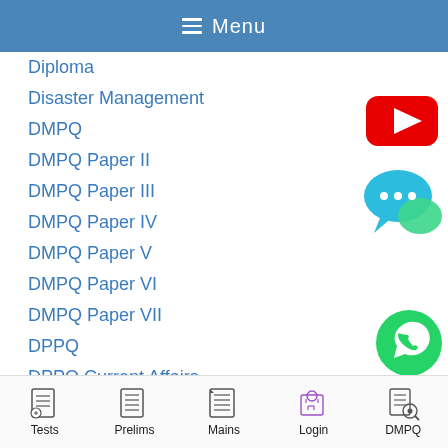≡ Menu
Diploma
Disaster Management
DMPQ
DMPQ Paper II
DMPQ Paper III
DMPQ Paper IV
DMPQ Paper V
DMPQ Paper VI
DMPQ Paper VII
DPPQ
DPPQ Current Affairs
DPPQ Economy
[Figure (screenshot): YouTube play button red icon on right side]
[Figure (screenshot): Chat bubble icon (teal/cyan) on right side]
[Figure (screenshot): WhatsApp green icon bottom right corner]
Tests   Prelims   Mains   Login   DMPQ